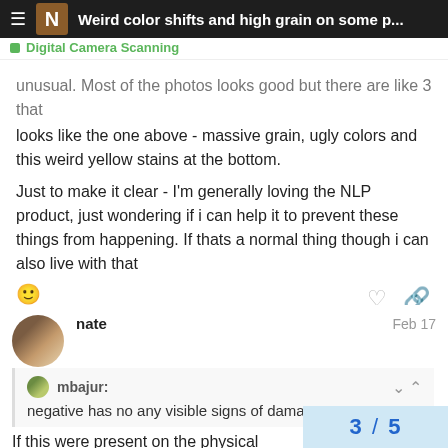Weird color shifts and high grain on some p... — Digital Camera Scanning
unusual. Most of the photos looks good but there are like 3 that looks like the one above - massive grain, ugly colors and this weird yellow stains at the bottom.
Just to make it clear - I'm generally loving the NLP product, just wondering if i can help it to prevent these things from happening. If thats a normal thing though i can also live with that 🙂
nate — Feb 17
mbajur: negative has no any visible signs of damage
If this were present on the physical negativ